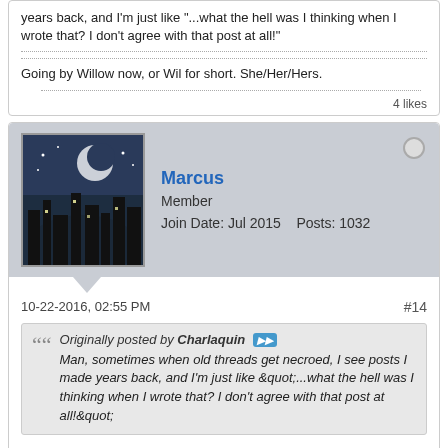years back, and I'm just like "...what the hell was I thinking when I wrote that? I don't agree with that post at all!"
Going by Willow now, or Wil for short. She/Her/Hers.
4 likes
Marcus
Member
Join Date: Jul 2015    Posts: 1032
10-22-2016, 02:55 PM
#14
Originally posted by Charlaquin
Man, sometimes when old threads get necroed, I see posts I made years back, and I'm just like &quot;...what the hell was I thinking when I wrote that? I don't agree with that post at all!&quot;
Hahahah honestly I didn't see the posts date :P